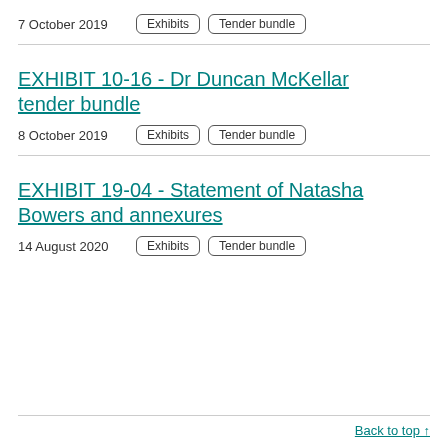7 October 2019
Exhibits   Tender bundle
EXHIBIT 10-16 - Dr Duncan McKellar tender bundle
8 October 2019
Exhibits   Tender bundle
EXHIBIT 19-04 - Statement of Natasha Bowers and annexures
14 August 2020
Exhibits   Tender bundle
Back to top ↑